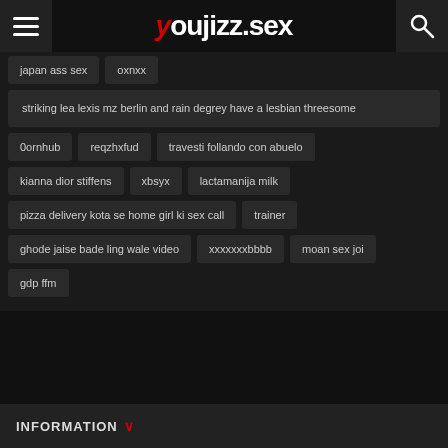youjizz.sex
japan ass sex
oxnxx
striking lea lexis mz berlin and rain degrey have a lesbian threesome
0ornhub
reqzhxfud
travesti follando con abuelo
kianna dior stiffens
xbsyx
lactamanija milk
pizza delivery kota se home girl ki sex call
trainer
ghode jaise bade ling wale video
xxxxxxxbbbb
moan sex joi
gdp ffm
INFORMATION